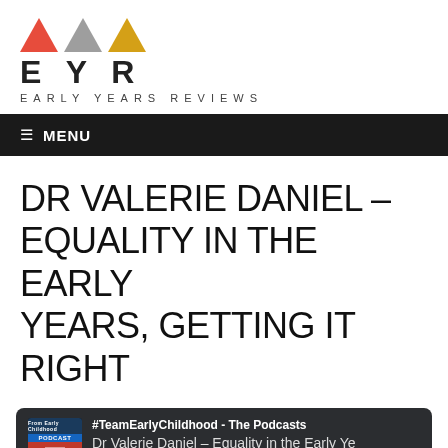[Figure (logo): EYR Early Years Reviews logo with three triangles (red, grey, gold) above bold letters EYR and subtitle EARLY YEARS REVIEWS]
≡  MENU
DR VALERIE DANIEL – EQUALITY IN THE EARLY YEARS, GETTING IT RIGHT
[Figure (screenshot): Podcast player widget showing #TeamEarlyChildhood - The Podcasts, episode Dr Valerie Daniel - Equality in the Early Ye, with play button, progress bar, controls (10 back, 1X speed, 30 forward), and time 00:00 / 00:47:17]